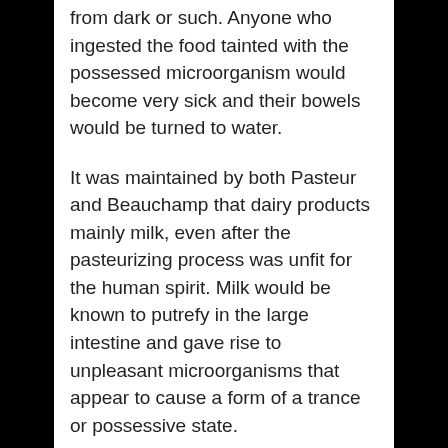from dark or such. Anyone who ingested the food tainted with the possessed microorganism would become very sick and their bowels would be turned to water.
It was maintained by both Pasteur and Beauchamp that dairy products mainly milk, even after the pasteurizing process was unfit for the human spirit. Milk would be known to putrefy in the large intestine and gave rise to unpleasant microorganisms that appear to cause a form of a trance or possessive state.
They also warned that aspirin was capable of throwing someone into a mild depression. It also made the patient susceptible to liver toxemia. Beauchamp eventually played down